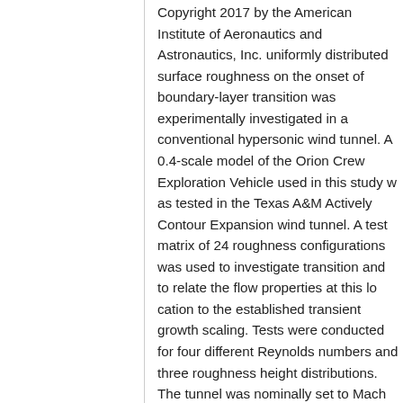Copyright 2017 by the American Institute of Aeronautics and Astronautics, Inc. uniformly distributed surface roughness on the onset of boundary-layer transition was experimentally investigated in a conventional hypersonic wind tunnel. A 0.4-scale model of the Orion Crew Exploration Vehicle used in this study was tested in the Texas A&M Actively Contour Expansion wind tunnel. A test matrix of 24 roughness configurations was used to investigate transition and to relate the flow properties at this location to the established transient growth scaling. Tests were conducted for four different Reynolds numbers and three roughness height distributions. The tunnel was nominally set to Mach 6. Global infrared thermometry was used to measure the surface temperature during each wind tunnel run. A series of surface temperature maps were processed to identify the heat transfer rate, which directly indicated the boundary-layer transition location. The measured transition locations matched the established transient growth scaling.
authors
Bowersox, Rodney
published proceedings